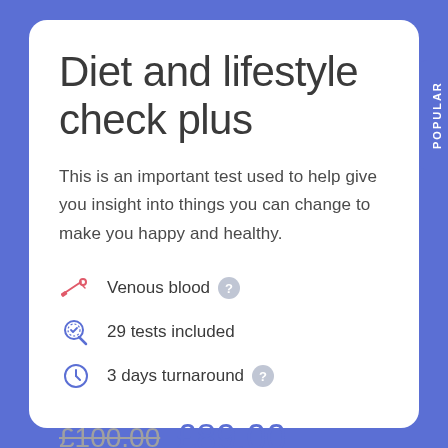Diet and lifestyle check plus
This is an important test used to help give you insight into things you can change to make you happy and healthy.
Venous blood
29 tests included
3 days turnaround
£100.00  £89.00